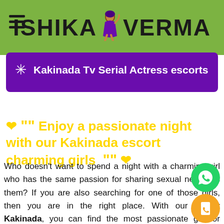ISHIKA VERMA
* Kakinada Tv Serial Actress escorts
❤ ““ Enjoy a passionate night with our Kakinada escort charming girls ”” ❤
Who doesn't want to spend a night with a charming girl who has the same passion for sharing sexual needs as them? If you are also searching for one of those girls, then you are in the right place. With our escort Kakinada, you can find the most passionate girl for yourself to spend your overnight with. Our call girls are passionate about their work and can do their jobs for earning their livings. Our girls can go anywhere with you when you hire them beforehand. You can take our girls on